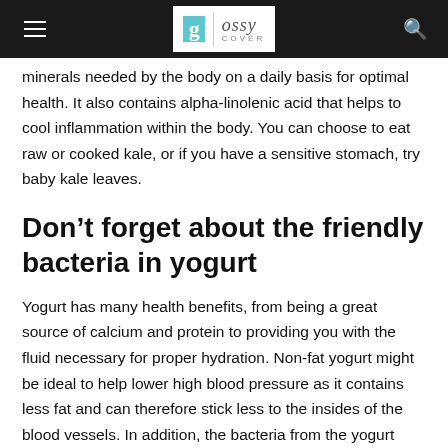Glossy Cover
minerals needed by the body on a daily basis for optimal health. It also contains alpha-linolenic acid that helps to cool inflammation within the body. You can choose to eat raw or cooked kale, or if you have a sensitive stomach, try baby kale leaves.
Don’t forget about the friendly bacteria in yogurt
Yogurt has many health benefits, from being a great source of calcium and protein to providing you with the fluid necessary for proper hydration. Non-fat yogurt might be ideal to help lower high blood pressure as it contains less fat and can therefore stick less to the insides of the blood vessels. In addition, the bacteria from the yogurt might help balance out